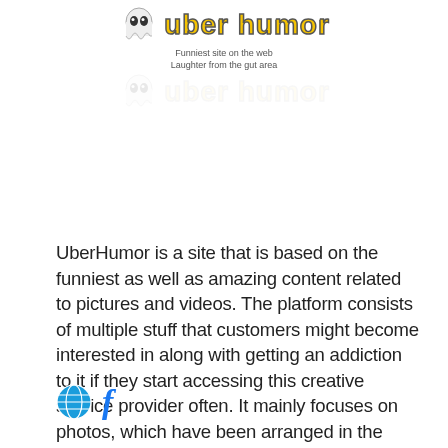[Figure (logo): UberHumor logo with ghost mascot, yellow bold text 'uber humor', subtitle text, and reflection below]
UberHumor is a site that is based on the funniest as well as amazing content related to pictures and videos. The platform consists of multiple stuff that customers might become interested in along with getting an addiction to it if they start accessing this creative service provider often. It mainly focuses on photos, which have been arranged in the related section and contains photography, funny photos, quotes, real-life events, and much more. Videos section on Uberhumor didn't get much attention…
[Figure (illustration): Social media icons: globe/web icon and Facebook 'f' icon]